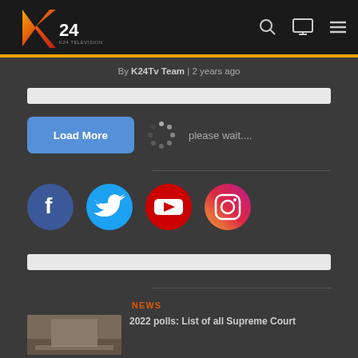[Figure (logo): K24 TV logo with stylized K in orange/red and 24 in white]
By K24Tv Team | 2 years ago
[Figure (other): Search bar placeholder (light gray bar)]
[Figure (other): Load More button in blue with spinner and 'please wait....' text]
[Figure (other): Social media icons: Facebook, Twitter, YouTube, Instagram]
[Figure (other): Footer search bar placeholder (light gray bar)]
NEWS
2022 polls: List of all Supreme Court